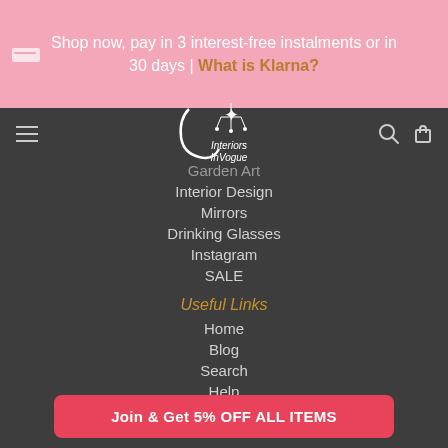Shop now, pay in 3 interest-free instalments or in 30 days | What is Klarna?
[Figure (logo): Interiors InVogue logo with chandelier and stylized V letter]
Garden Art
Interior Design
Mirrors
Drinking Glasses
Instagram
SALE
Useful Links
Home
Blog
Search
Help
Join & Get 5% OFF ALL ITEMS